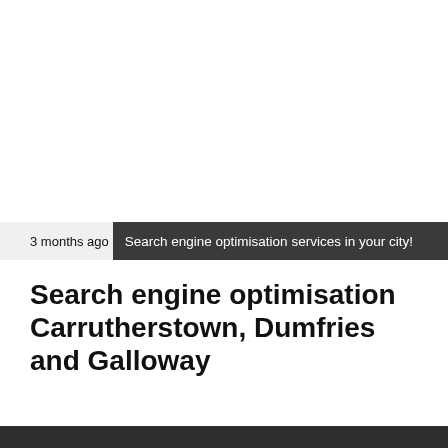3 months ago
Search engine optimisation services in your city!
Search engine optimisation Carrutherstown, Dumfries and Galloway